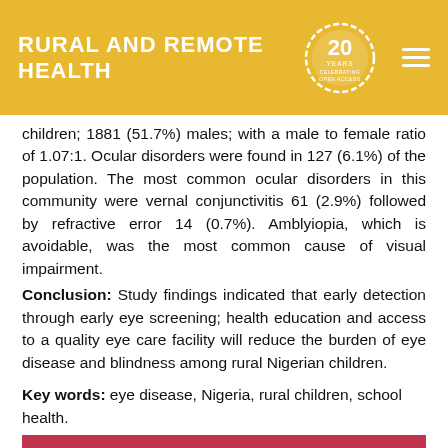RURAL AND REMOTE HEALTH
children; 1881 (51.7%) males; with a male to female ratio of 1.07:1. Ocular disorders were found in 127 (6.1%) of the population. The most common ocular disorders in this community were vernal conjunctivitis 61 (2.9%) followed by refractive error 14 (0.7%). Amblyiopia, which is avoidable, was the most common cause of visual impairment.
Conclusion: Study findings indicated that early detection through early eye screening; health education and access to a quality eye care facility will reduce the burden of eye disease and blindness among rural Nigerian children.
Key words: eye disease, Nigeria, rural children, school health.
FULL ARTICLE:
Introduction